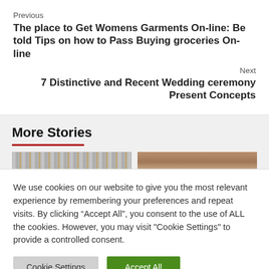Previous
The place to Get Womens Garments On-line: Be told Tips on how to Pass Buying groceries On-line
Next
7 Distinctive and Recent Wedding ceremony Present Concepts
More Stories
[Figure (photo): Two partial story thumbnail images side by side]
We use cookies on our website to give you the most relevant experience by remembering your preferences and repeat visits. By clicking “Accept All”, you consent to the use of ALL the cookies. However, you may visit "Cookie Settings" to provide a controlled consent.
Cookie Settings
Accept All